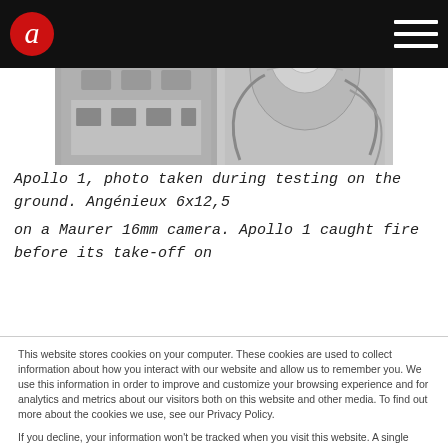[Figure (photo): Black and white photo strip showing Apollo 1 spacecraft interior components during ground testing, split into two panels]
Apollo 1, photo taken during testing on the ground. Angénieux 6x12,5 on a Maurer 16mm camera. Apollo 1 caught fire before its take-off on
This website stores cookies on your computer. These cookies are used to collect information about how you interact with our website and allow us to remember you. We use this information in order to improve and customize your browsing experience and for analytics and metrics about our visitors both on this website and other media. To find out more about the cookies we use, see our Privacy Policy.
If you decline, your information won't be tracked when you visit this website. A single cookie will be used in your browser to remember your preference not to be tracked.